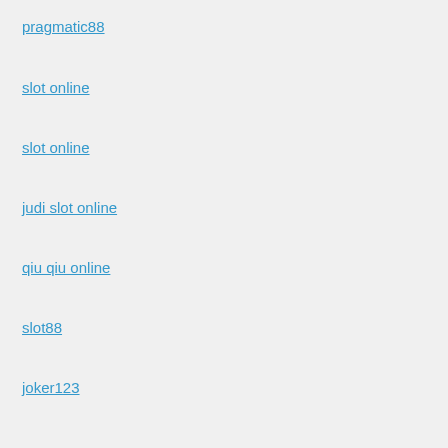pragmatic88
slot online
slot online
judi slot online
qiu qiu online
slot88
joker123